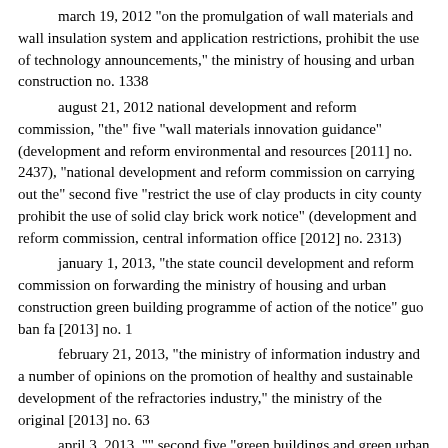march 19, 2012 "on the promulgation of wall materials and wall insulation system and application restrictions, prohibit the use of technology announcements," the ministry of housing and urban construction no. 1338
august 21, 2012 national development and reform commission, "the" five "wall materials innovation guidance" (development and reform environmental and resources [2011] no. 2437), "national development and reform commission on carrying out the" second five "restrict the use of clay products in city county prohibit the use of solid clay brick work notice" (development and reform commission, central information office [2012] no. 2313)
january 1, 2013, "the state council development and reform commission on forwarding the ministry of housing and urban construction green building programme of action of the notice" guo ban fa [2013] no. 1
february 21, 2013, "the ministry of information industry and a number of opinions on the promotion of healthy and sustainable development of the refractories industry," the ministry of the original [2013] no. 63
april 3, 2013, "" second five "green buildings and green urban development plan" (built by [2013] no. 53)
"interim measures to promote low-carbon energy technologies" (development and reform environmental and resources [2014] no. 19) january 6, 2014
"housing and urban ministry of construction energy